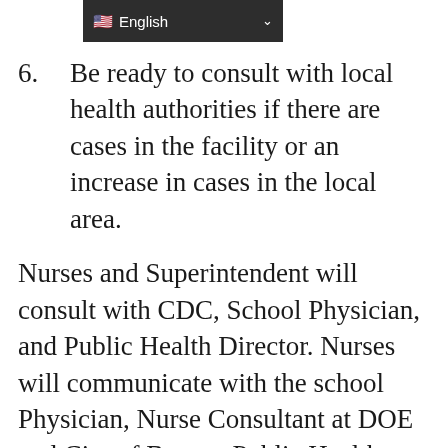English
6. Be ready to consult with local health authorities if there are cases in the facility or an increase in cases in the local area.
Nurses and Superintendent will consult with CDC, School Physician, and Public Health Director. Nurses will communicate with the school Physician, Nurse Consultant at DOE and City of Bangor Public Health Nurse.
The BSD set up a survey monkey link:  https://www.surveymonkey.com/r/C3ZGJ6 parents to submit their questions about the